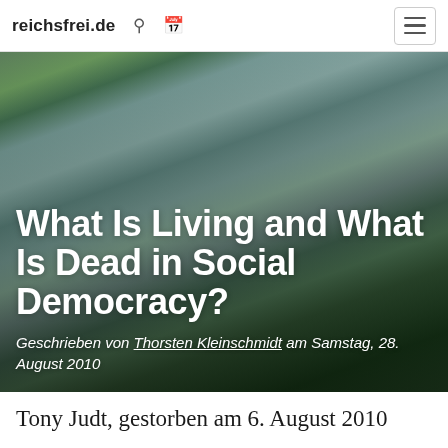reichsfrei.de
What Is Living and What Is Dead in Social Democracy?
Geschrieben von Thorsten Kleinschmidt am Samstag, 28. August 2010
[Figure (photo): Aerial landscape photo of a river valley with forested hills, a river winding through the center, and a town visible in the valley below. Overcast sky above distant hills.]
Tony Judt, gestorben am 6. August 2010